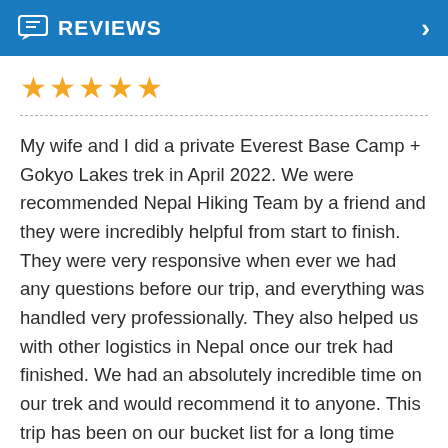REVIEWS
[Figure (other): Five orange star rating icons]
My wife and I did a private Everest Base Camp + Gokyo Lakes trek in April 2022. We were recommended Nepal Hiking Team by a friend and they were incredibly helpful from start to finish. They were very responsive when ever we had any questions before our trip, and everything was handled very professionally. They also helped us with other logistics in Nepal once our trek had finished. We had an absolutely incredible time on our trek and would recommend it to anyone. This trip has been on our bucket list for a long time and it didn't disappoint. A lot of this was down to our guide, Dinesh. He was extremely knowledgable about the region and the different mountains etc., and was always very cheerful and was great at raising morale! When my wife suffered from a